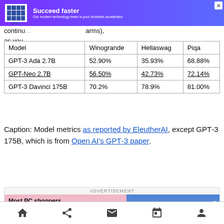[Figure (other): KPMG advertisement banner with purple gradient background, KPMG logo, and text 'Succeed faster – Our modern technology team is your business accelerator.']
continu…  as you…
| Model | Winogrande | Hellaswag | Piqa |
| --- | --- | --- | --- |
| GPT-3 Ada 2.7B | 52.90% | 35.93% | 68.88% |
| GPT-Neo 2.7B | 56.50% | 42.73% | 72.14% |
| GPT-3 Davinci 175B | 70.2% | 78.9% | 81.00% |
Caption: Model metrics as reported by EleutherAI, except GPT-3 175B, which is from Open AI's GPT-3 paper.
[Figure (other): Advertisement: 'Most PC shoppers buy their devices online – and 45% of them visited Amazon during' with image of a man on blue background.]
Navigation bar with home, share, mail, calendar, and person icons